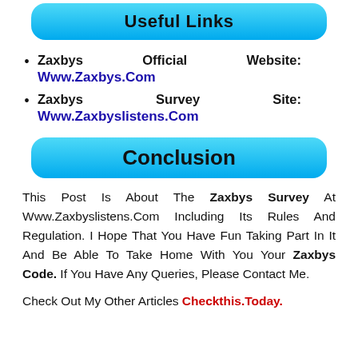Useful Links
Zaxbys Official Website: Www.Zaxbys.Com
Zaxbys Survey Site: Www.Zaxbyslistens.Com
Conclusion
This Post Is About The Zaxbys Survey At Www.Zaxbyslistens.Com Including Its Rules And Regulation. I Hope That You Have Fun Taking Part In It And Be Able To Take Home With You Your Zaxbys Code. If You Have Any Queries, Please Contact Me.
Check Out My Other Articles Checkthis.Today.